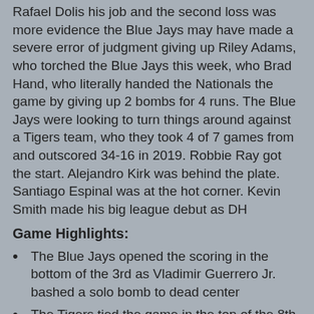Rafael Dolis his job and the second loss was more evidence the Blue Jays may have made a severe error of judgment giving up Riley Adams, who torched the Blue Jays this week, who Brad Hand, who literally handed the Nationals the game by giving up 2 bombs for 4 runs. The Blue Jays were looking to turn things around against a Tigers team, who they took 4 of 7 games from and outscored 34-16 in 2019. Robbie Ray got the start. Alejandro Kirk was behind the plate. Santiago Espinal was at the hot corner. Kevin Smith made his big league debut as DH
Game Highlights:
The Blue Jays opened the scoring in the bottom of the 3rd as Vladimir Guerrero Jr. bashed a solo bomb to dead center
The Tigers tied the game in the top of the 8th on a wild pitch by Robbie Ray that scored Zack Short
Tyler Alexander pitching line: 7IP 4H 1R (earned) 2BB 6K 88 pitches (56 for strikes)
Robbie Ray pitching line: 8IP 5H 1R (earned)